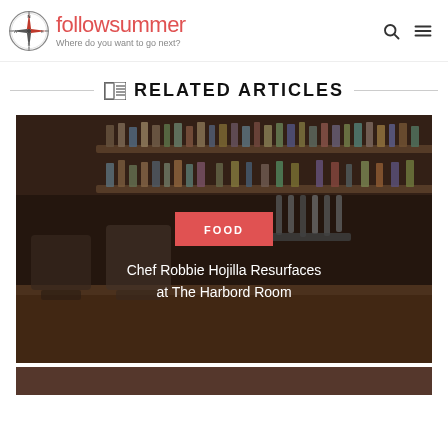followsummer – Where do you want to go next?
RELATED ARTICLES
[Figure (photo): Bar interior with shelves of liquor bottles, wooden bar counter and stools, with FOOD badge overlay and article title 'Chef Robbie Hojilla Resurfaces at The Harbord Room']
[Figure (photo): Second related article card, partially visible at bottom of page]